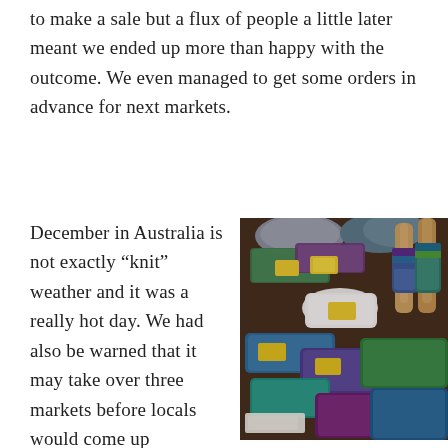to make a sale but a flux of people a little later meant we ended up more than happy with the outcome. We even managed to get some orders in advance for next markets.
December in Australia is not exactly “knit” weather and it was a really hot day. We had also be warned that it may take over three markets before locals would come up
[Figure (photo): A market stall display showing colourful hand-knitted items including fingerless gloves on wooden hand forms, socks, hats, and other knitwear arranged on a dark fur-like surface, with yellow price tags attached.]